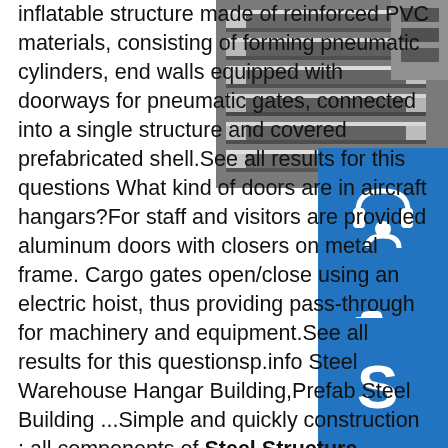[Figure (photo): Stack of metal U-channel/C-channel steel sections piled together, industrial warehouse setting]
[Figure (illustration): Blue icon box with white headset/customer service icon]
[Figure (illustration): Blue icon box with white telephone/phone icon]
[Figure (illustration): Blue icon box with white Skype logo icon]
inflatable structure made of reinforced PVC materials, consisting of forming pneumatic cylinders, end walls equipped with doorways for pneumatic gates, connected into a single structure and covered prefabricated shell.See all results for this questions What kind of doors are in aircraft hangars?For staff and visitors are provided aluminum doors with closers on metal frame. Cargo gates open/close using an electric hoist, thus providing pass-through for machinery and equipment.See all results for this questionsp.info Steel Warehouse Hangar Building,Prefab Steel Building ...Simple and quickly construction : all components of Steel Structure Warehouse Hangar Building are completed fabricated in the factory, and simply assembled on site, thus greatly shorten the construction period, a 6000 square meter building, installation only takes 40